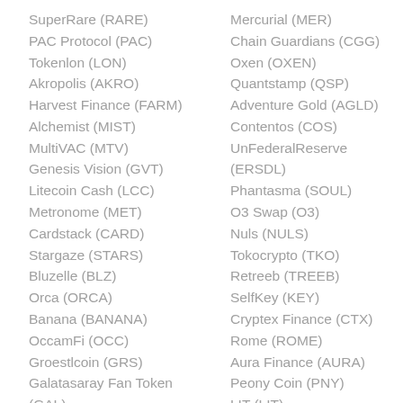SuperRare (RARE)
PAC Protocol (PAC)
Tokenlon (LON)
Akropolis (AKRO)
Harvest Finance (FARM)
Alchemist (MIST)
MultiVAC (MTV)
Genesis Vision (GVT)
Litecoin Cash (LCC)
Metronome (MET)
Cardstack (CARD)
Stargaze (STARS)
Bluzelle (BLZ)
Orca (ORCA)
Banana (BANANA)
OccamFi (OCC)
Groestlcoin (GRS)
Galatasaray Fan Token (GAL)
Mercurial (MER)
Chain Guardians (CGG)
Oxen (OXEN)
Quantstamp (QSP)
Adventure Gold (AGLD)
Contentos (COS)
UnFederalReserve (ERSDL)
Phantasma (SOUL)
O3 Swap (O3)
Nuls (NULS)
Tokocrypto (TKO)
Retreeb (TREEB)
SelfKey (KEY)
Cryptex Finance (CTX)
Rome (ROME)
Aura Finance (AURA)
Peony Coin (PNY)
LIT (LIT)